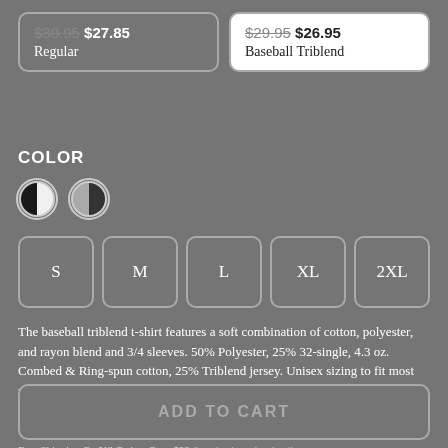$30.95 $27.85 Regular
$29.95 $26.95 Baseball Triblend
COLOR
[Figure (illustration): Two color circle swatches: black/white halved circle and gray/black halved circle]
S M L XL 2XL
The baseball triblend t-shirt features a soft combination of cotton, polyester, and rayon blend and 3/4 sleeves. 50% Polyester, 25% 32-single, 4.3 oz. Combed & Ring-spun cotton, 25% Triblend jersey. Unisex sizing to fit most people. More Product Information & Size Chart
ADD TO CART
Free Shipping On US Orders Over $99 See checkout for details